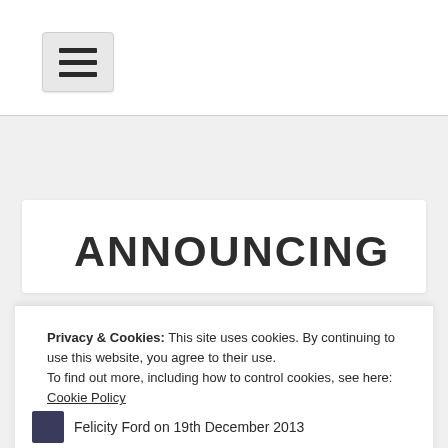[Figure (screenshot): Hamburger menu button (three horizontal bars icon) on a light gray background with border]
ANNOUNCING
Privacy & Cookies: This site uses cookies. By continuing to use this website, you agree to their use.
To find out more, including how to control cookies, see here: Cookie Policy
Close and accept
Felicity Ford on 19th December 2013